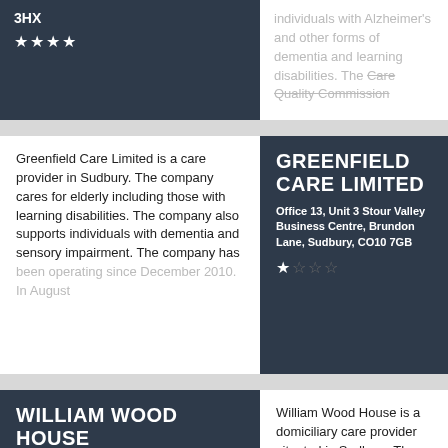3HX
★★★★☆
individuals with Alzheimer's and other forms of dementia and learning disabilities. The Care Quality Commission
Greenfield Care Limited is a care provider in Sudbury. The company cares for elderly including those with learning disabilities. The company also supports individuals with dementia and sensory impairment. The company has been operating since December 2010. In August
GREENFIELD CARE LIMITED
Office 13, Unit 3 Stour Valley Business Centre, Brundon Lane, Sudbury, CO10 7GB
★☆☆☆
WILLIAM WOOD HOUSE
School Street, Sudbury, CO10 2AW
★★★☆
William Wood House is a domiciliary care provider situated in Sudbury. The company cares for elderly with physical disabilities. Additionally, the care provider is able to support people with